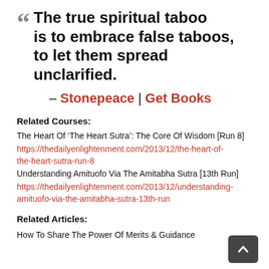“” The true spiritual taboo is to embrace false taboos, to let them spread unclarified.
– Stonepeace | Get Books
Related Courses:
The Heart Of ‘The Heart Sutra’: The Core Of Wisdom [Run 8]
https://thedailyenlightenment.com/2013/12/the-heart-of-the-heart-sutra-run-8
Understanding Amituofo Via The Amitabha Sutra [13th Run]
https://thedailyenlightenment.com/2013/12/understanding-amituofo-via-the-amitabha-sutra-13th-run
Related Articles:
How To Share The Power Of Merits & Guidance